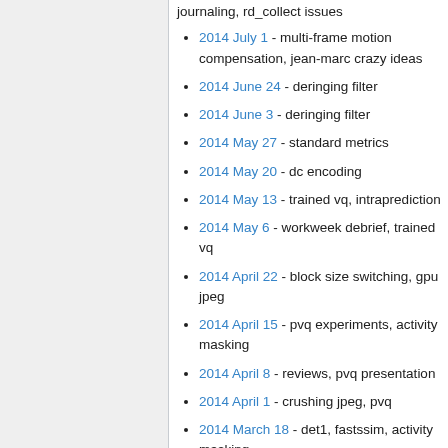journaling, rd_collect issues
2014 July 1 - multi-frame motion compensation, jean-marc crazy ideas
2014 June 24 - deringing filter
2014 June 3 - deringing filter
2014 May 27 - standard metrics
2014 May 20 - dc encoding
2014 May 13 - trained vq, intraprediction
2014 May 6 - workweek debrief, trained vq
2014 April 22 - block size switching, gpu jpeg
2014 April 15 - pvq experiments, activity masking
2014 April 8 - reviews, pvq presentation
2014 April 1 - crushing jpeg, pvq
2014 March 18 - det1, fastssim, activity masking